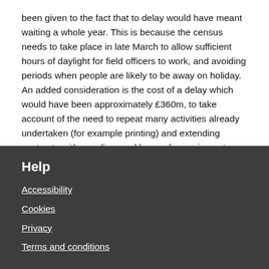been given to the fact that to delay would have meant waiting a whole year. This is because the census needs to take place in late March to allow sufficient hours of daylight for field officers to work, and avoiding periods when people are likely to be away on holiday. An added consideration is the cost of a delay which would have been approximately £360m, to take account of the need to repeat many activities already undertaken (for example printing) and extending contracts with suppliers and leases for equipment.
Help
Accessibility
Cookies
Privacy
Terms and conditions